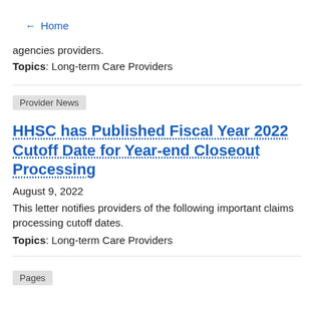← Home
agencies providers.
Topics: Long-term Care Providers
Provider News
HHSC has Published Fiscal Year 2022 Cutoff Date for Year-end Closeout Processing
August 9, 2022
This letter notifies providers of the following important claims processing cutoff dates.
Topics: Long-term Care Providers
Pages